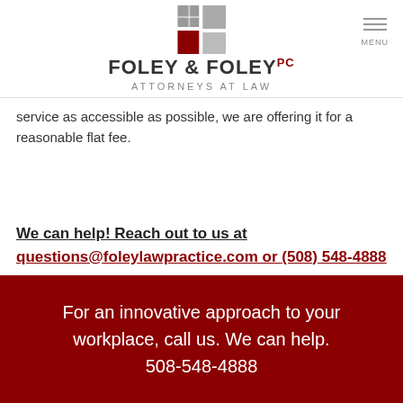[Figure (logo): Foley & Foley PC Attorneys at Law logo with geometric square icon in grey and red]
service as accessible as possible, we are offering it for a reasonable flat fee.
We can help! Reach out to us at questions@foleylawpractice.com or (508) 548-4888
For an innovative approach to your workplace, call us. We can help. 508-548-4888